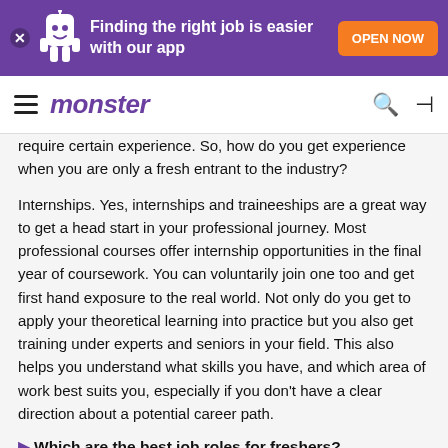[Figure (other): Purple app advertisement banner with mascot character, text 'Finding the right job is easier with our app', and orange 'OPEN NOW' button]
monster
require certain experience. So, how do you get experience when you are only a fresh entrant to the industry?

Internships. Yes, internships and traineeships are a great way to get a head start in your professional journey. Most professional courses offer internship opportunities in the final year of coursework. You can voluntarily join one too and get first hand exposure to the real world. Not only do you get to apply your theoretical learning into practice but you also get training under experts and seniors in your field. This also helps you understand what skills you have, and which area of work best suits you, especially if you don't have a clear direction about a potential career path.
Which are the best job roles for freshers?